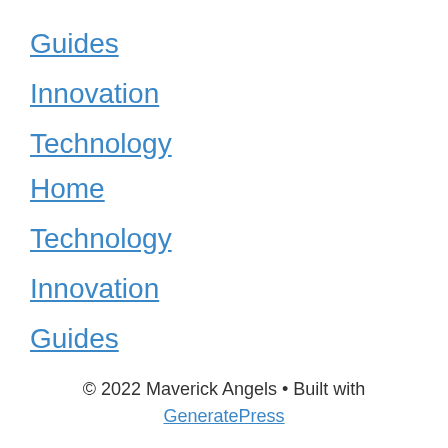Guides
Innovation
Technology
Home
Technology
Innovation
Guides
© 2022 Maverick Angels • Built with GeneratePress